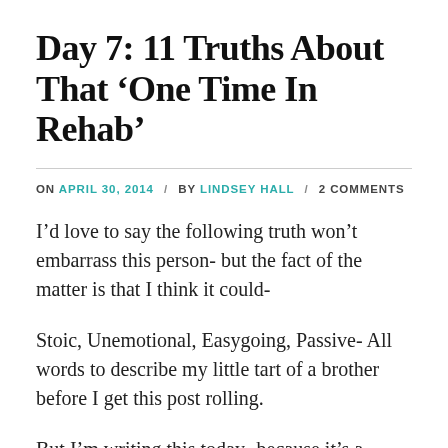Day 7: 11 Truths About That ‘One Time In Rehab’
ON APRIL 30, 2014 / BY LINDSEY HALL / 2 COMMENTS
I’d love to say the following truth won’t embarrass this person- but the fact of the matter is that I think it could-
Stoic, Unemotional, Easygoing, Passive- All words to describe my little tart of a brother before I get this post rolling.
But I’m writing this today- because it’s a crucial thing to cover. Family. I could write 10,000 posts on my